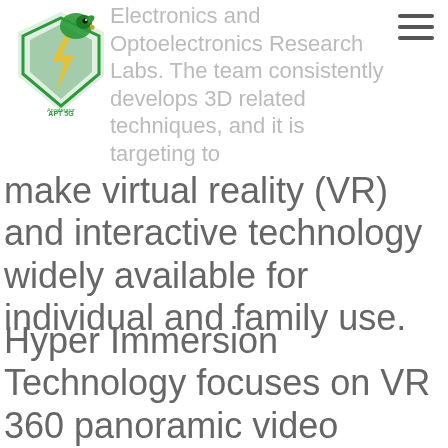Electronics and Optoelectronics Research Labs. The team consistently develops 3D related techniques, and it is targeting to
[Figure (logo): APT 5G Accelerator logo — green eagle/phoenix head with lightning bolt shield]
make virtual reality (VR) and interactive technology widely available for individual and family use.
Hyper Immersion Technology focuses on VR 360 panoramic video production technology and provides exclusive VR Live streaming services. Highlights